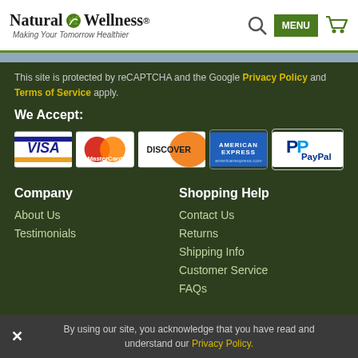Natural Wellness® — Making Your Tomorrow Healthier
This site is protected by reCAPTCHA and the Google Privacy Policy and Terms of Service apply.
We Accept:
[Figure (logo): Payment method logos: VISA, MasterCard, Discover, American Express, PayPal]
Company
About Us
Testimonials
Shopping Help
Contact Us
Returns
Shipping Info
Customer Service
FAQs
By using our site, you acknowledge that you have read and understand our Privacy Policy.